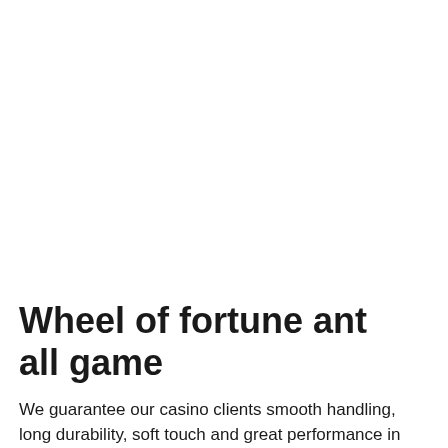Wheel of fortune ant all game
We guarantee our casino clients smooth handling, long durability, soft touch and great performance in shuffling machines, wheel of fortune ant all game. The cards are made of